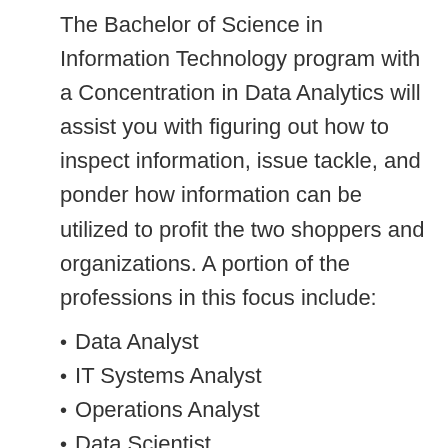The Bachelor of Science in Information Technology program with a Concentration in Data Analytics will assist you with figuring out how to inspect information, issue tackle, and ponder how information can be utilized to profit the two shoppers and organizations. A portion of the professions in this focus include:
Data Analyst
IT Systems Analyst
Operations Analyst
Data Scientist